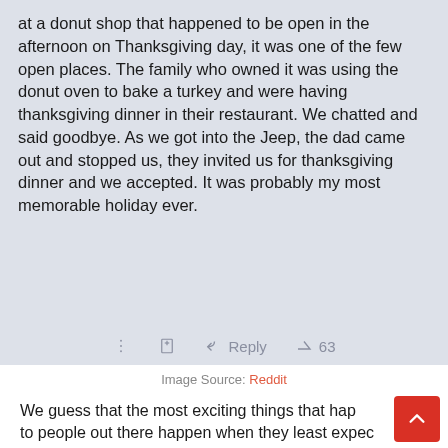[Figure (screenshot): Screenshot of a Reddit comment on a light blue-gray background. The comment reads: 'at a donut shop that happened to be open in the afternoon on Thanksgiving day, it was one of the few open places. The family who owned it was using the donut oven to bake a turkey and were having thanksgiving dinner in their restaurant. We chatted and said goodbye. As we got into the Jeep, the dad came out and stopped us, they invited us for thanksgiving dinner and we accepted. It was probably my most memorable holiday ever.' Below the text are action icons: a three-dot menu, a bookmark/add icon, a Reply arrow, and an upvote button showing 63.]
Image Source: Reddit
We guess that the most exciting things that hap to people out there happen when they least expect